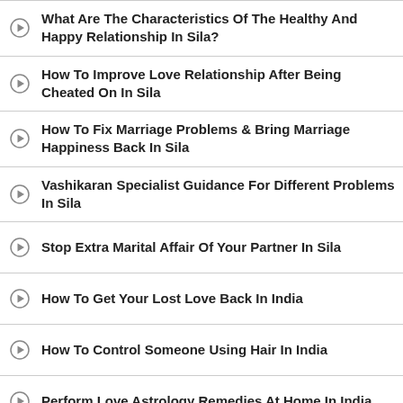What Are The Characteristics Of The Healthy And Happy Relationship In Sila?
How To Improve Love Relationship After Being Cheated On In Sila
How To Fix Marriage Problems & Bring Marriage Happiness Back In Sila
Vashikaran Specialist Guidance For Different Problems In Sila
Stop Extra Marital Affair Of Your Partner In Sila
How To Get Your Lost Love Back In India
How To Control Someone Using Hair In India
Perform Love Astrology Remedies At Home In India
Call/ Chat/ Message Bengali Tantrik Acharya Ji